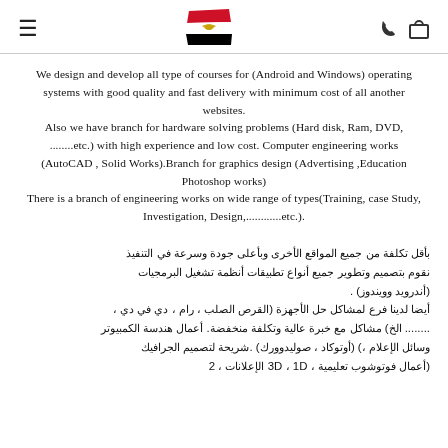≡  [Egyptian flag]  ☎ 🛒
We design and develop all type of courses for (Android and Windows) operating systems with good quality and fast delivery with minimum cost of all another websites. Also we have branch for hardware solving problems (Hard disk, Ram, DVD, ........etc.) with high experience and low cost. Computer engineering works (AutoCAD , Solid Works).Branch for graphics design (Advertising ,Education Photoshop works) There is a branch of engineering works on wide range of types(Training, case Study, Investigation, Design,............etc.).
بأقل تكلفة من جميع المواقع الأخرى وبأعلى جودة وسرعة في التنفيذ نقوم بتصميم وتطوير جميع أنواع تطبيقات أنظمة تشغيل البرمجيات (أندرويد وويندوز) . أيضا لدينا فرع لمشاكل حل الأجهزة (القرص الصلب ، رام ، دي في دي ، ........ الخ) مشاكل مع خبرة عالية وتكلفة منخفضة. أعمال هندسة الكمبيوتر وسائل الإعلام ،) (أوتوكاد ، صوليدوورك) .شريحة لتصميم الجرافيك (أعمال فوتوشوب تعليمية ، 3D ، 1D الإعلانات ، 2